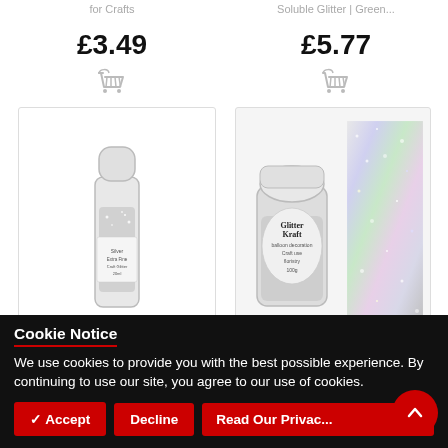for Crafts
Soluble Glitter | Green...
£3.49
£5.77
[Figure (other): Shopping basket icon (left)]
[Figure (other): Shopping basket icon (right)]
[Figure (photo): 20ml Silver Extra Fine Craft Glitter bottle with white cap]
[Figure (photo): GlitterKraft 100g Fine Quality Glitter Powder jar with holographic silver glitter swatch]
20ml Silver Extra Fine Craft Glitter for
100g Fine Quality Glitter Powder |
Cookie Notice
We use cookies to provide you with the best possible experience. By continuing to use our site, you agree to our use of cookies.
✓ Accept
Decline
Read Our Privac...y